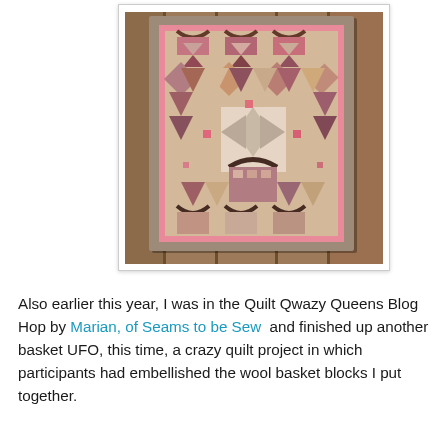[Figure (photo): A colorful basket quilt with pink, brown, and cream patchwork patterns hanging against a wooden fence. The quilt features basket blocks and geometric star/triangle patterns with a pink and brown border.]
Also earlier this year, I was in the Quilt Qwazy Queens Blog Hop by Marian, of Seams to be Sew  and finished up another basket UFO, this time, a crazy quilt project in which participants had embellished the wool basket blocks I put together.